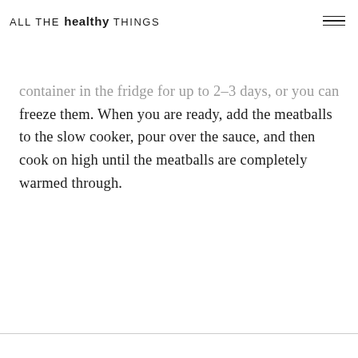ALL THE healthy THINGS
container in the fridge for up to 2-3 days, or you can freeze them. When you are ready, add the meatballs to the slow cooker, pour over the sauce, and then cook on high until the meatballs are completely warmed through.